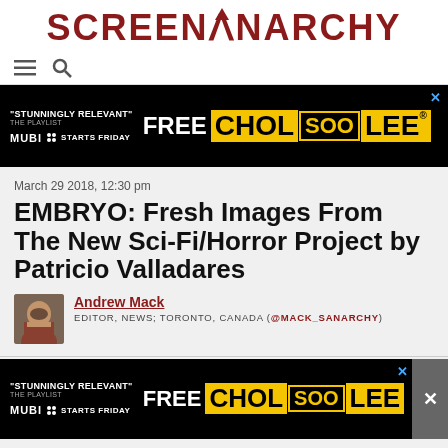SCREENANARCHY
[Figure (screenshot): Advertisement banner: FREE CHOL SOO LEE, MUBI, Stunningly Relevant - The Playlist, Starts Friday]
March 29 2018, 12:30 pm
EMBRYO: Fresh Images From The New Sci-Fi/Horror Project by Patricio Valladares
Andrew Mack
EDITOR, NEWS; TORONTO, CANADA (@MACK_SANARCHY)
[Figure (screenshot): Advertisement banner repeated at bottom: FREE CHOL SOO LEE, MUBI, Stunningly Relevant, Starts Friday]